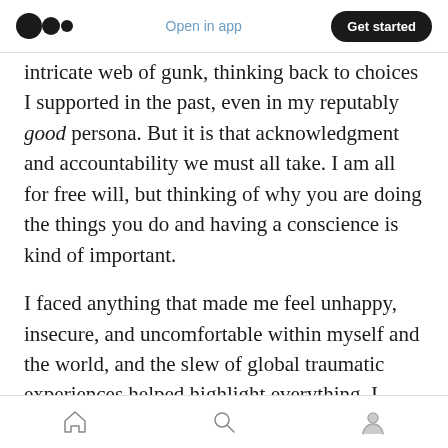Open in app | Get started
intricate web of gunk, thinking back to choices I supported in the past, even in my reputably good persona. But it is that acknowledgment and accountability we must all take. I am all for free will, but thinking of why you are doing the things you do and having a conscience is kind of important.
I faced anything that made me feel unhappy, insecure, and uncomfortable within myself and the world, and the slew of global traumatic experiences helped highlight everything. I
Home | Search | Profile